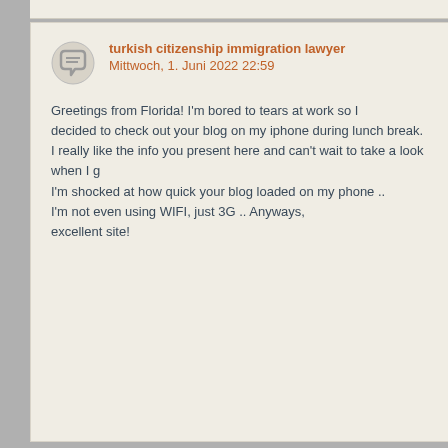turkish citizenship immigration lawyer
Mittwoch, 1. Juni 2022 22:59

Greetings from Florida! I'm bored to tears at work so I decided to check out your blog on my iphone during lunch break. I really like the info you present here and can't wait to take a look when I g I'm shocked at how quick your blog loaded on my phone .. I'm not even using WIFI, just 3G .. Anyways, excellent site!
qqqqq
Donnerstag, 2. Juni 2022 8:50

I am really enjoying the theme/design of your website. Do you ever run into any browser compatibility issues? A handful of my blog visitors have complained about my website not operating correctly in Explorer but looks great in Safari. Do you have any suggestions to help fix this problem?
1xbet korean
Donnerstag, 2. Juni 2022 16:32

Everything is very open with a clear clarification of the issues.